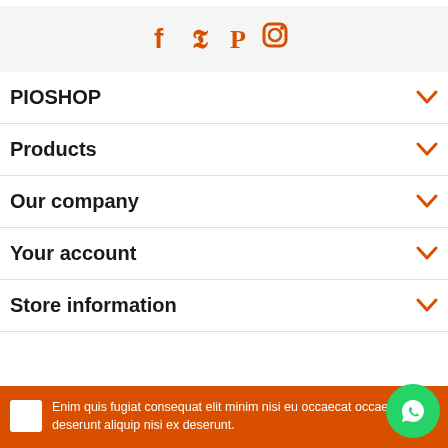[Figure (other): Social media icons bar: Facebook, Twitter, Pinterest, Instagram in orange on light grey background]
PIOSHOP
Products
Our company
Your account
Store information
Enim quis fugiat consequat elit minim nisi eu occaecat occaecat deserunt aliquip nisi ex deserunt.